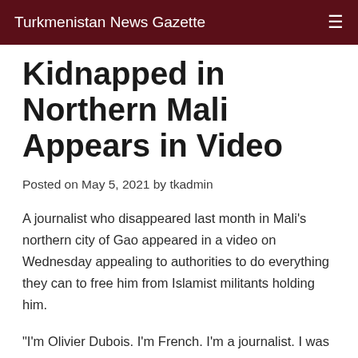Turkmenistan News Gazette
Kidnapped in Northern Mali Appears in Video
Posted on May 5, 2021 by tkadmin
A journalist who disappeared last month in Mali's northern city of Gao appeared in a video on Wednesday appealing to authorities to do everything they can to free him from Islamist militants holding him.
"I'm Olivier Dubois. I'm French. I'm a journalist. I was kidnapped in Gao on April 8 by the JNIM (al-Qaeda North Africa).